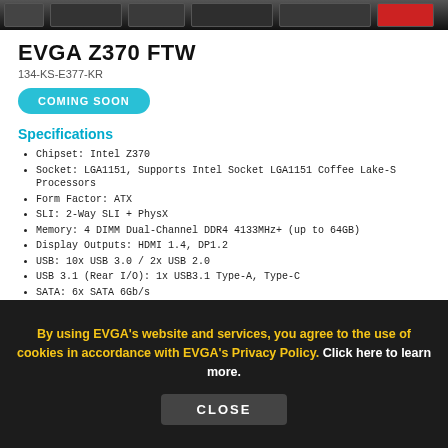[Figure (screenshot): Partial screenshot of EVGA product motherboard image at the top of the page]
EVGA Z370 FTW
134-KS-E377-KR
COMING SOON
Specifications
Chipset: Intel Z370
Socket: LGA1151, Supports Intel Socket LGA1151 Coffee Lake-S Processors
Form Factor: ATX
SLI: 2-Way SLI + PhysX
Memory: 4 DIMM Dual-Channel DDR4 4133MHz+ (up to 64GB)
Display Outputs: HDMI 1.4, DP1.2
USB: 10x USB 3.0 / 2x USB 2.0
USB 3.1 (Rear I/O): 1x USB3.1 Type-A, Type-C
SATA: 6x SATA 6Gb/s
M.2 Key-M: 2x 80mm Slots (Up to 32Gb/s)
M.2 Key-E: 1x 32mm Slot
Ethernet: Intel I219V Gigabit NIC
Audio: Realtek ALC1220 7.1 Channel HD Audio + Optical
By using EVGA's website and services, you agree to the use of cookies in accordance with EVGA's Privacy Policy. Click here to learn more.
CLOSE